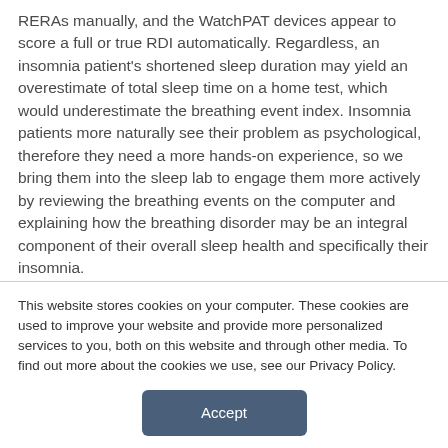RERAs manually, and the WatchPAT devices appear to score a full or true RDI automatically. Regardless, an insomnia patient's shortened sleep duration may yield an overestimate of total sleep time on a home test, which would underestimate the breathing event index. Insomnia patients more naturally see their problem as psychological, therefore they need a more hands-on experience, so we bring them into the sleep lab to engage them more actively by reviewing the breathing events on the computer and explaining how the breathing disorder may be an integral component of their overall sleep health and specifically their insomnia.

I have been very pleased in discussing this comorbidity problem with medical directors of several insurance companies who agree that home
This website stores cookies on your computer. These cookies are used to improve your website and provide more personalized services to you, both on this website and through other media. To find out more about the cookies we use, see our Privacy Policy.